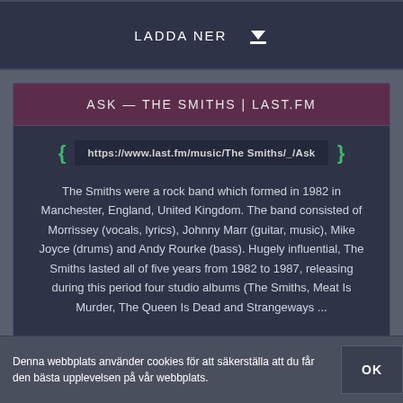LADDA NER ⬇
ASK — THE SMITHS | LAST.FM
https://www.last.fm/music/The Smiths/_/Ask
The Smiths were a rock band which formed in 1982 in Manchester, England, United Kingdom. The band consisted of Morrissey (vocals, lyrics), Johnny Marr (guitar, music), Mike Joyce (drums) and Andy Rourke (bass). Hugely influential, The Smiths lasted all of five years from 1982 to 1987, releasing during this period four studio albums (The Smiths, Meat Is Murder, The Queen Is Dead and Strangeways ...
STATUS: AKTIVA
FÖRHANDSVISNING 👁
Denna webbplats använder cookies för att säkerställa att du får den bästa upplevelsen på vår webbplats.